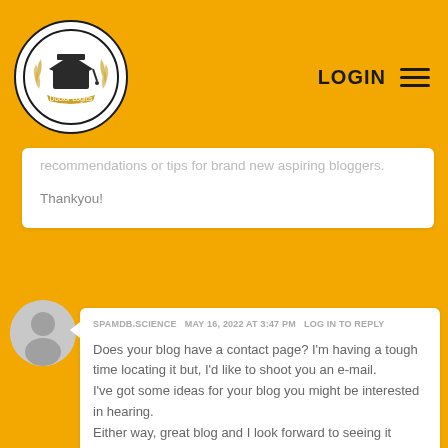[Figure (logo): Doctor Logics logo - graduation cap inside oval with wheat/laurel decoration]
LOGIN
recommendations or tips for brand new aspiring bloggers.

Thankyou!
SPAMDB.SCIENCE   MAY 16, 2022 AT 3:47 PM   LOG IN TO REPLY

Does your blog have a contact page? I'm having a tough time locating it but, I'd like to shoot you an e-mail. I've got some ideas for your blog you might be interested in hearing.
Either way, great blog and I look forward to seeing it develop over time.